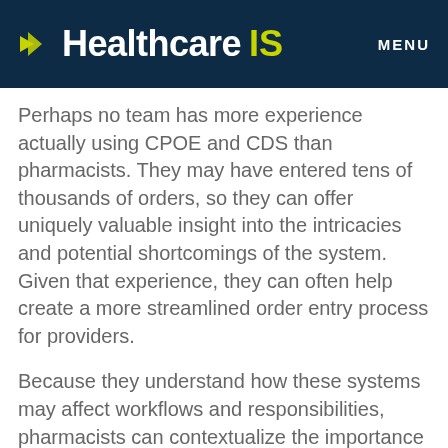Healthcare IS  MENU
Perhaps no team has more experience actually using CPOE and CDS than pharmacists. They may have entered tens of thousands of orders, so they can offer uniquely valuable insight into the intricacies and potential shortcomings of the system. Given that experience, they can often help create a more streamlined order entry process for providers.
Because they understand how these systems may affect workflows and responsibilities, pharmacists can contextualize the importance of these tools to an EHR project. While clinicians may express frustration about workflow changes or excessive alerts in CDS tools, pharmacists see directly how errors in EHR, CPOE, and CDS lead...